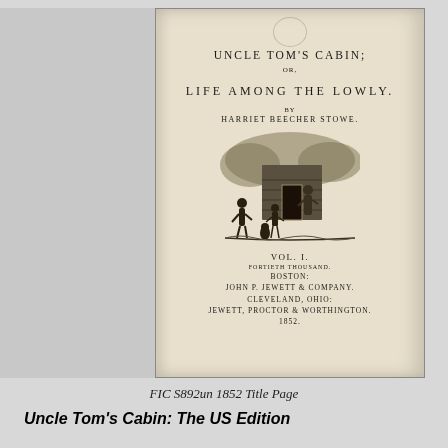[Figure (photo): Photograph of the title page of Uncle Tom's Cabin, Vol. I, published in Boston by John P. Jewett & Company, 1852. The title page shows the title, subtitle 'Life Among the Lowly', author Harriet Beecher Stowe, a woodcut illustration of a log cabin with figures, and publisher details.]
FIC S892un 1852 Title Page
Uncle Tom's Cabin: The US Edition